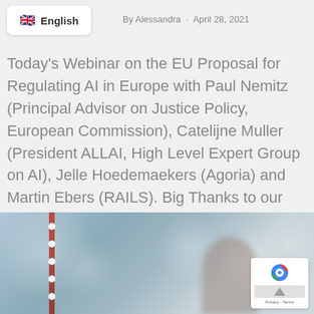🇬🇧 English · By Alessandra · April 28, 2021
Today's Webinar on the EU Proposal for Regulating AI in Europe with Paul Nemitz (Principal Advisor on Justice Policy, European Commission), Catelijne Muller (President ALLAI, High Level Expert Group on AI), Jelle Hoedemaekers (Agoria) and Martin Ebers (RAILS). Big Thanks to our speakers & to the participants for their valuable questions!
[Figure (photo): Blurred interior photo of a modern building or conference space with lights and a person silhouette in the foreground]